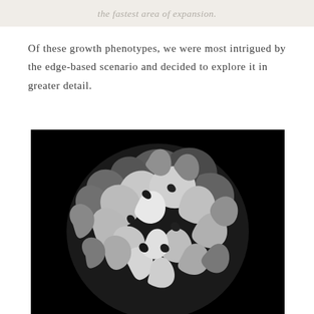the fastest area of expansion.
Of these growth phenotypes, we were most intrigued by the edge-based scenario and decided to explore it in greater detail.
[Figure (photo): Black and white 3D rendered image of a ruffled sphere-like structure with complex, wavy, folded surfaces against a black background, resembling a hyperbolic surface or coral-like growth form.]